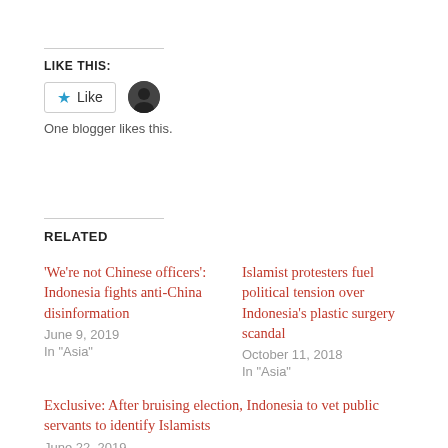LIKE THIS:
[Figure (other): Like button with star icon and blogger avatar circle]
One blogger likes this.
RELATED
‘We’re not Chinese officers’: Indonesia fights anti-China disinformation
June 9, 2019
In "Asia"
Islamist protesters fuel political tension over Indonesia’s plastic surgery scandal
October 11, 2018
In "Asia"
Exclusive: After bruising election, Indonesia to vet public servants to identify Islamists
June 22, 2019